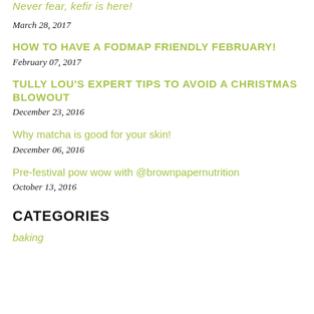Never fear, kefir is here!
March 28, 2017
HOW TO HAVE A FODMAP FRIENDLY FEBRUARY!
February 07, 2017
TULLY LOU'S EXPERT TIPS TO AVOID A CHRISTMAS BLOWOUT
December 23, 2016
Why matcha is good for your skin!
December 06, 2016
Pre-festival pow wow with @brownpapernutrition
October 13, 2016
CATEGORIES
baking